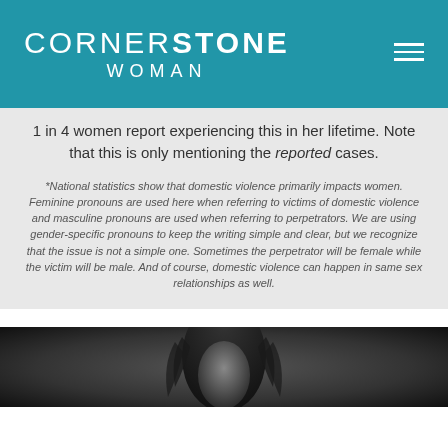CORNERSTONE WOMAN
1 in 4 women report experiencing this in her lifetime. Note that this is only mentioning the reported cases.
*National statistics show that domestic violence primarily impacts women. Feminine pronouns are used here when referring to victims of domestic violence and masculine pronouns are used when referring to perpetrators. We are using gender-specific pronouns to keep the writing simple and clear, but we recognize that the issue is not a simple one. Sometimes the perpetrator will be female while the victim will be male. And of course, domestic violence can happen in same sex relationships as well.
[Figure (photo): Black and white photo of a woman's face, partially visible at bottom of page]